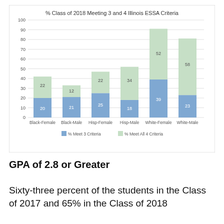[Figure (stacked-bar-chart): % Class of 2018 Meeting 3 and 4 Illinois ESSA Criteria]
GPA of 2.8 or Greater
Sixty-three percent of the students in the Class of 2017 and 65% in the Class of 2018